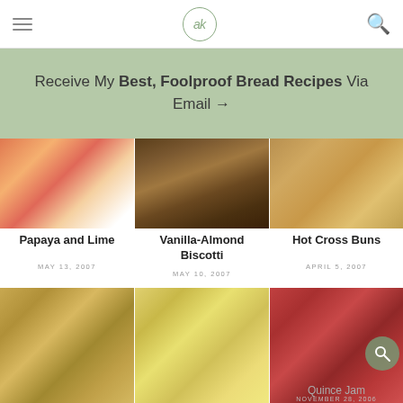ak
Receive My Best, Foolproof Bread Recipes Via Email →
[Figure (photo): Papaya and lime food photo]
Papaya and Lime
MAY 13, 2007
[Figure (photo): Vanilla-Almond Biscotti food photo]
Vanilla-Almond Biscotti
MAY 10, 2007
[Figure (photo): Hot Cross Buns food photo]
Hot Cross Buns
APRIL 5, 2007
[Figure (photo): Scone food photo]
[Figure (photo): Frittata food photo]
[Figure (photo): Quince Jam jars photo]
Quince Jam
NOVEMBER 28, 2006